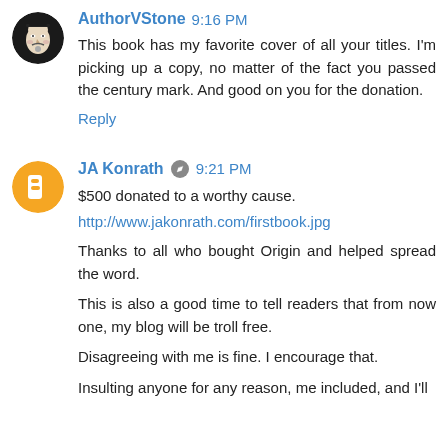AuthorVStone 9:16 PM
This book has my favorite cover of all your titles. I'm picking up a copy, no matter of the fact you passed the century mark. And good on you for the donation.
Reply
JA Konrath 9:21 PM
$500 donated to a worthy cause.
http://www.jakonrath.com/firstbook.jpg
Thanks to all who bought Origin and helped spread the word.
This is also a good time to tell readers that from now one, my blog will be troll free.
Disagreeing with me is fine. I encourage that.
Insulting anyone for any reason, me included, and I'll